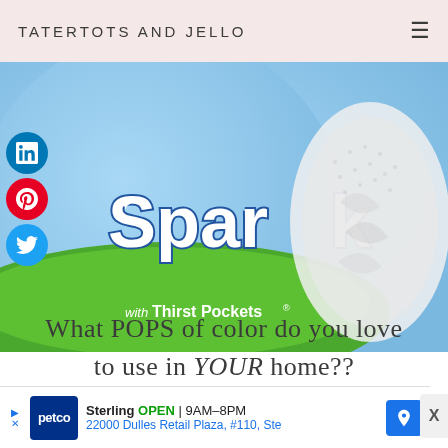TATERTOTS AND JELLO
[Figure (photo): Partial view of a Sparkle paper towel product packaging with 'with Thirst Pockets' text on a green banner, alongside social media icons (LinkedIn, Pinterest, Twitter)]
What POPS of color do you love to use in YOUR home??
xoxo
[Figure (other): Petco advertisement banner showing Sterling location open 9AM-8PM at 22000 Dulles Retail Plaza, #110, Ste]